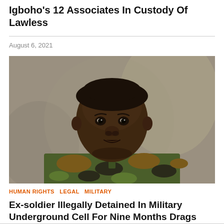Igboho's 12 Associates In Custody Of Lawless
August 6, 2021
[Figure (photo): Portrait of a young man in Nigerian military camouflage uniform against a grey-brown studio background]
HUMAN RIGHTS   LEGAL   MILITARY
Ex-soldier Illegally Detained In Military Underground Cell For Nine Months Drags Army To